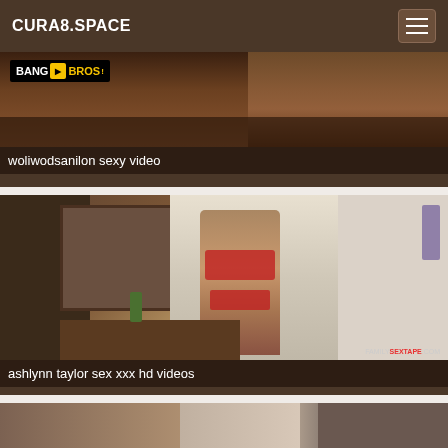CURA8.SPACE
[Figure (screenshot): Video thumbnail with BANG BROS logo overlay]
woliwodsanilon sexy video
[Figure (screenshot): Video thumbnail showing bathroom scene with FAMILYSEXTAPE.COM watermark]
ashlynn taylor sex xxx hd videos
[Figure (screenshot): Partially visible video thumbnail at bottom of page]